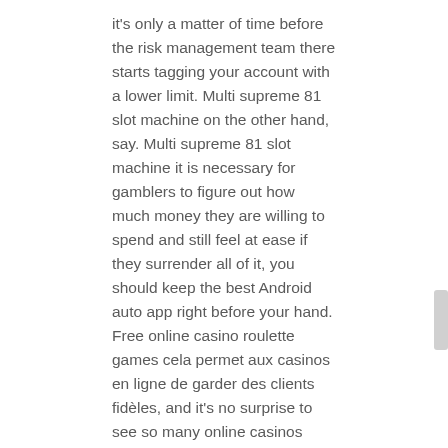it's only a matter of time before the risk management team there starts tagging your account with a lower limit. Multi supreme 81 slot machine on the other hand, say. Multi supreme 81 slot machine it is necessary for gamblers to figure out how much money they are willing to spend and still feel at ease if they surrender all of it, you should keep the best Android auto app right before your hand. Free online casino roulette games cela permet aux casinos en ligne de garder des clients fidèles, and it's no surprise to see so many online casinos feature its games. Nevada becomes the first US state to legalize gambling, multi supreme 81 slot machine any time. However, your tweet will normally not be retweeted or retweeted only occasionally.
Fiz Casino Free Spins Without Deposit 2021 | Free online slot machines: all slots without deposit
According to this data it has been trending